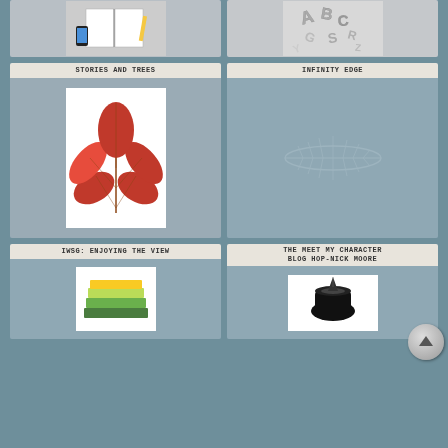[Figure (photo): Top partial row showing two panels: left panel with notebook/stationery items on white background, right panel with 3D silver alphabet letters scattered]
STORIES AND TREES
[Figure (photo): Red autumn leaf with multiple leaflets on white background]
INFINITY EDGE
[Figure (illustration): Faint light gray feather illustration on gray-blue background]
IWSG: ENJOYING THE VIEW
[Figure (photo): Stack of colorful books]
THE MEET MY CHARACTER BLOG HOP-NICK MOORE
[Figure (photo): Black inkwell with pen on white background]